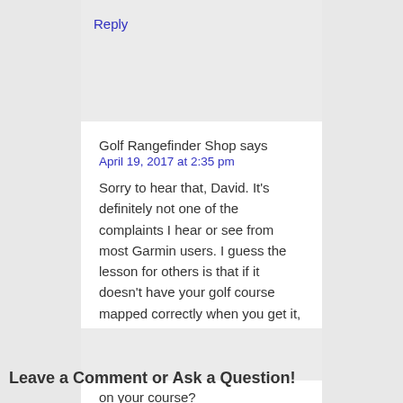Reply
Golf Rangefinder Shop says
April 19, 2017 at 2:35 pm
Sorry to hear that, David. It's definitely not one of the complaints I hear or see from most Garmin users. I guess the lesson for others is that if it doesn't have your golf course mapped correctly when you get it, return it before it's too late. Do you know of anyone using another brand that has better luck on your course?
Leave a Comment or Ask a Question!